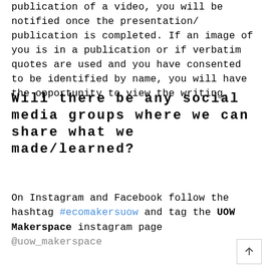publication of a video, you will be notified once the presentation/ publication is completed. If an image of you is in a publication or if verbatim quotes are used and you have consented to be identified by name, you will have the opportunity to view the writing.
Will there be any social media groups where we can share what we made/learned?
On Instagram and Facebook follow the hashtag #ecomakersuow and tag the UOW Makerspace instagram page @uow_makerspace